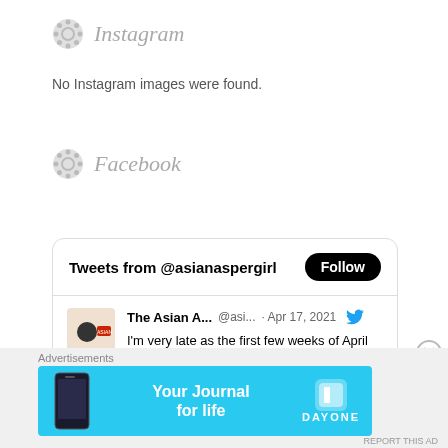Instagram
No Instagram images were found.
Facebook
[Figure (screenshot): Twitter widget showing tweets from @asianaspergirl with a Follow button, and one tweet by The Asian A... @asi... Apr 17, 2021 saying: I'm very late as the first few weeks of April have not been great for me, but here are my faves for March 2021!]
Advertisements
[Figure (infographic): Day One app advertisement banner: Your Journal for life, on a light blue background with phone image and Day One logo]